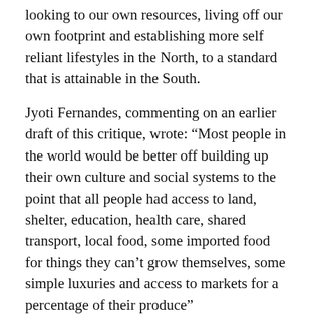looking to our own resources, living off our own footprint and establishing more self reliant lifestyles in the North, to a standard that is attainable in the South.
Jyoti Fernandes, commenting on an earlier draft of this critique, wrote: “Most people in the world would be better off building up their own culture and social systems to the point that all people had access to land, shelter, education, health care, shared transport, local food, some imported food for things they can’t grow themselves, some simple luxuries and access to markets for a percentage of their produce”
The transfer of money required for this to happen around the globe is relatively small, and can easily be achieved without trying to change every Third World country into a “tiger economy”. What is missing is the political will. But when even “critics of globalization” turn round and attack this agenda as “pernicious” what hope is there of